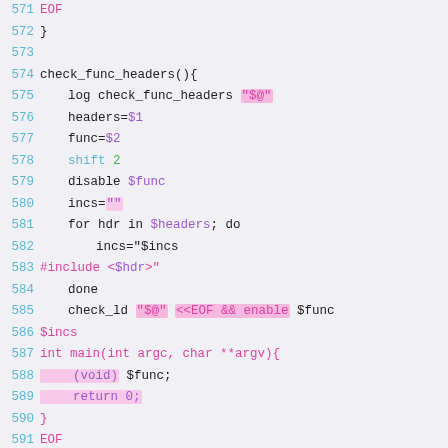[Figure (screenshot): Source code listing (shell script) showing lines 571-595 with syntax highlighting. Lines include EOF, check_func_headers function definition, variable assignments, for loop, check_ld call, heredoc content, and check_cpp_condition function start.]